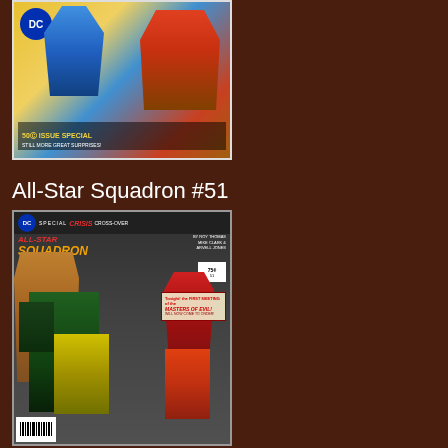[Figure (photo): Comic book cover of All-Star Squadron #50 Issue Special, showing superhero characters in colorful costumes]
All-Star Squadron #51
[Figure (photo): Comic book cover of All-Star Squadron #51, Special Crisis Cross-Over issue, published by DC Comics. Features multiple superhero characters including a large muscular villain, a woman in a red costume, and several heroes. By Roy Thomas, Mike Clark & Arvell Jones.]